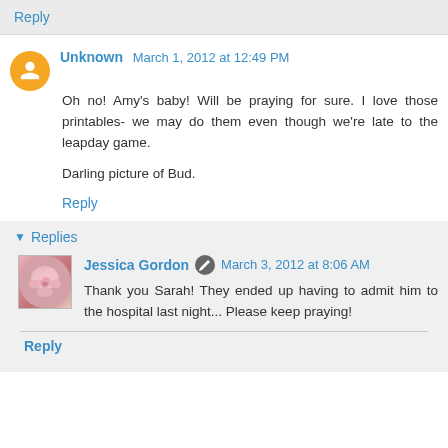Reply
Unknown March 1, 2012 at 12:49 PM
Oh no! Amy's baby! Will be praying for sure. I love those printables- we may do them even though we're late to the leapday game.

Darling picture of Bud.
Reply
Replies
Jessica Gordon March 3, 2012 at 8:06 AM
Thank you Sarah! They ended up having to admit him to the hospital last night... Please keep praying!
Reply